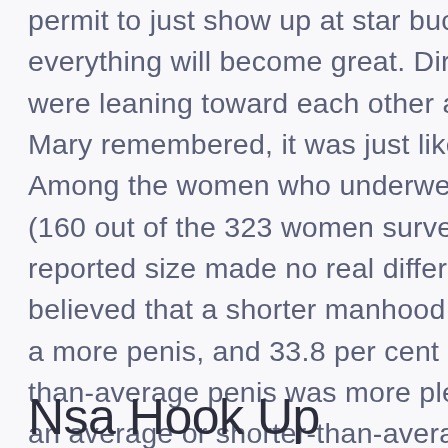permit to just show up at star bucks and assume everything will become great. Directly after we realized we were leaning toward each other and sort of falling in love, Mary remembered, it was just like we were kids again. Among the women who underwent vaginal-only orgasms (160 out of the 323 women surveyed), 60 percent reported size made no real difference, 6.3 percent believed that a shorter manhood was far pleasurable than a more penis, and 33.8 per cent stated that the longer-than-average penis was more pleasurable compared to an average or shorter-than-average manhood. More than 400 young people engaged in the analysis, each between the ages of 12 and 14.
Nsa Hook Up